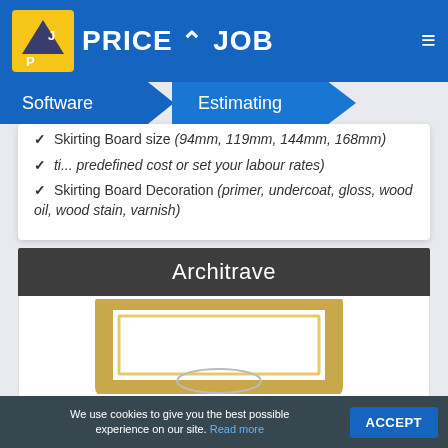Price A Job
✓ Skirting Board size (94mm, 119mm, 144mm, 168mm)
✓ (use a predefined cost or set your labour rates)
✓ Skirting Board Decoration (primer, undercoat, gloss, wood oil, wood stain, varnish)
Architrave
[Figure (photo): Photo of a door architrave frame with decorative molding, gold/wood colored, with an oval mirror/decoration visible at the bottom]
We use cookies to give you the best possible experience on our site. Read more ACCEPT